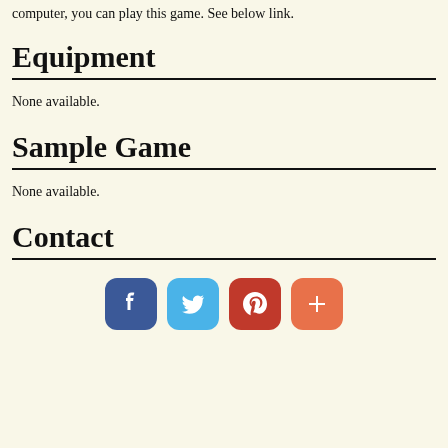computer, you can play this game. See below link.
Equipment
None available.
Sample Game
None available.
Contact
[Figure (infographic): Social media icons row: Facebook (blue), Twitter (light blue), Pinterest (red), Plus/share (orange-red)]